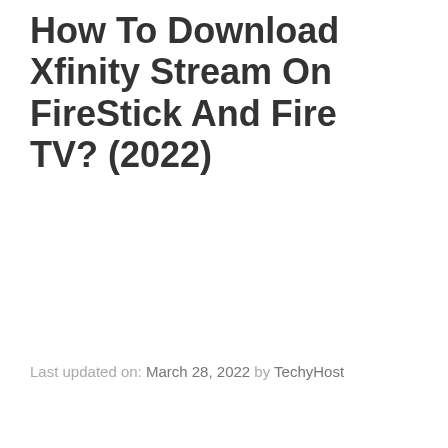How To Download Xfinity Stream On FireStick And Fire TV? (2022)
Last updated on: March 28, 2022 by TechyHost